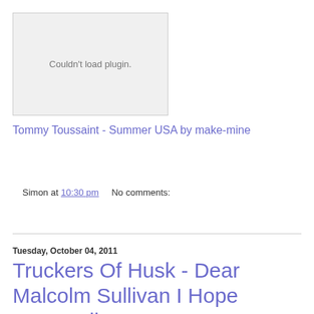[Figure (other): Embedded plugin area showing 'Couldn't load plugin.' message]
Tommy Toussaint - Summer USA by make-mine
Simon at 10:30 pm   No comments:
Share
Tuesday, October 04, 2011
Truckers Of Husk - Dear Malcolm Sullivan I Hope You're Alive?